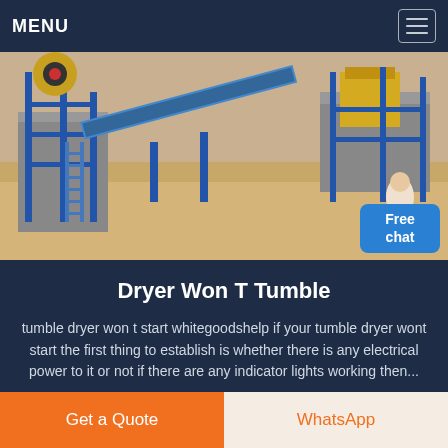MENU
[Figure (photo): Industrial mining/crushing plant with blue steel structures, conveyor belts, and yellow heavy machinery on a sandy site. A female customer service representative figure appears in the lower right.]
Free chat
Dryer Won T Tumble
tumble dryer won t start whitegoodshelp if your tumble dryer wont start the first thing to establish is whether there is any electrical power to it or not if there are any indicator lights working then...
Get a Quote
WhatsApp